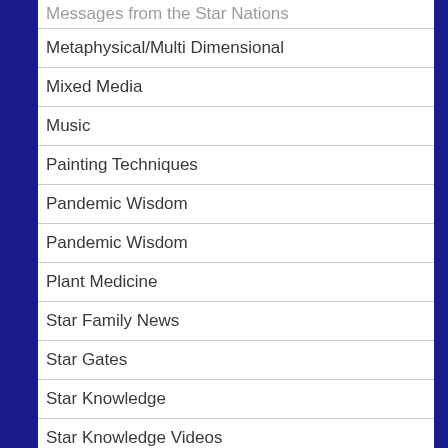Messages from the Star Nations
Metaphysical/Multi Dimensional
Mixed Media
Music
Painting Techniques
Pandemic Wisdom
Pandemic Wisdom
Plant Medicine
Star Family News
Star Gates
Star Knowledge
Star Knowledge Videos
Star Nations